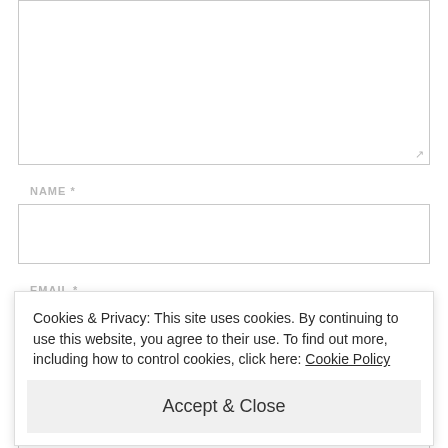[Figure (screenshot): A textarea (comment input box), partially visible at the top of the page, with a resize handle at the bottom right corner.]
NAME *
[Figure (screenshot): A text input field for Name.]
EMAIL *
[Figure (screenshot): A text input field for Email, partially visible behind the cookie banner.]
Cookies & Privacy: This site uses cookies. By continuing to use this website, you agree to their use. To find out more, including how to control cookies, click here: Cookie Policy
Accept & Close
WEBSITE
[Figure (screenshot): A partially visible text input field for Website at the bottom of the page.]